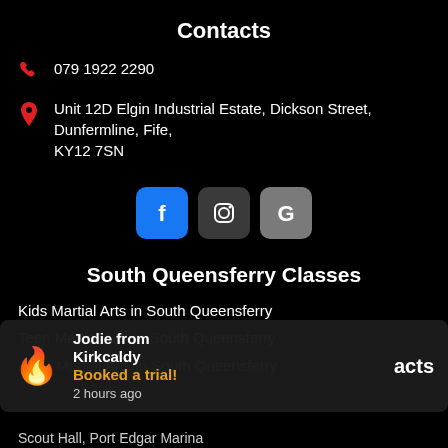Contacts
079 1922 2290
Unit 12D Elgin Industrial Estate, Dickson Street, Dunfermline, Fife, KY12 7SN
[Figure (other): Row of social media icons: Facebook (blue), Instagram (dark grey), Google (grey)]
South Queensferry Classes
Kids Martial Arts in South Queensferry
Teen Martial Arts in South Queensferry
Adult Martial Arts in South Queensferry
Jodie from Kirkcaldy
Booked a trial!
2 hours ago
Scout Hall, Port Edgar Marina